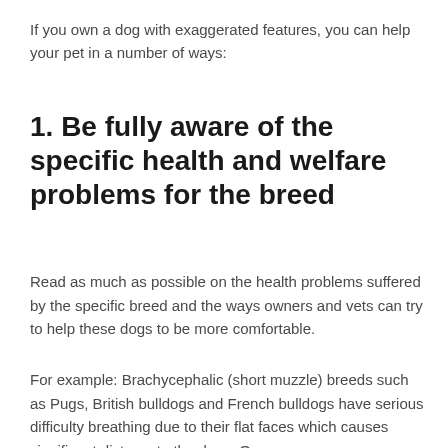If you own a dog with exaggerated features, you can help your pet in a number of ways:
1. Be fully aware of the specific health and welfare problems for the breed
Read as much as possible on the health problems suffered by the specific breed and the ways owners and vets can try to help these dogs to be more comfortable.
For example: Brachycephalic (short muzzle) breeds such as Pugs, British bulldogs and French bulldogs have serious difficulty breathing due to their flat faces which causes significant distress to the dogs. Owners